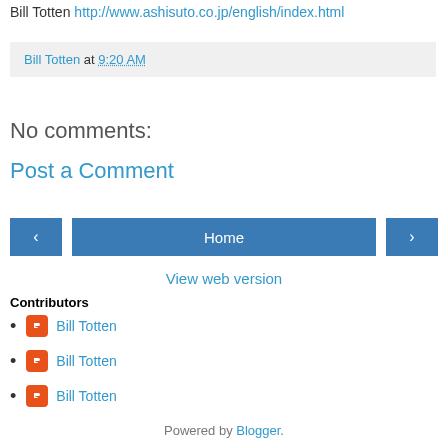Bill Totten http://www.ashisuto.co.jp/english/index.html
Bill Totten at 9:20 AM
No comments:
Post a Comment
< Home >
View web version
Contributors
Bill Totten
Bill Totten
Bill Totten
Powered by Blogger.